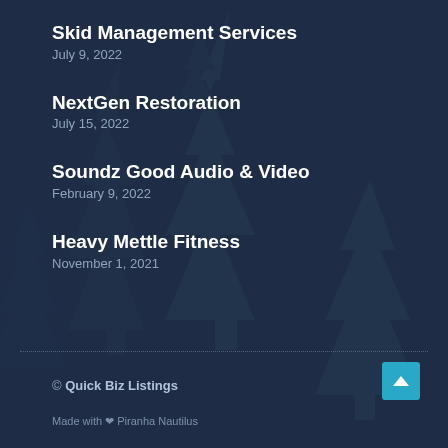Skid Management Services
July 9, 2022
NextGen Restoration
July 15, 2022
Soundz Good Audio & Video
February 9, 2022
Heavy Mettle Fitness
November 1, 2021
© Quick Biz Listings